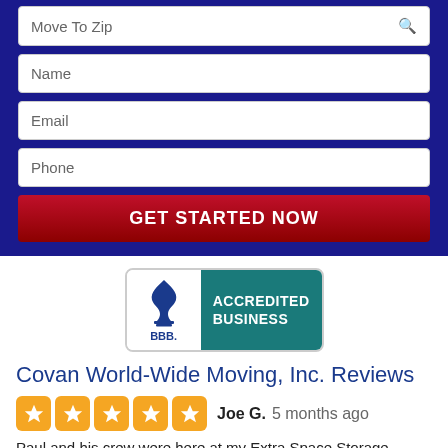[Figure (screenshot): Web form with fields: Move To Zip (with search icon), Name, Email, Phone, and a red GET STARTED NOW button, all on a dark blue background]
[Figure (logo): BBB Accredited Business badge with teal right panel]
Covan World-Wide Moving, Inc. Reviews
Joe G. 5 months ago
Paul and his crew were here at my Extra Space Storage facility all day, moving one of our tenants into their units. I only wish every Moving Crew were as professional, polite and thorough